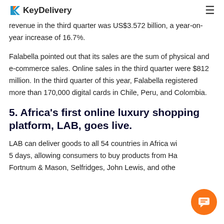KeyDelivery
revenue in the third quarter was US$3.572 billion, a year-on-year increase of 16.7%.
Falabella pointed out that its sales are the sum of physical and e-commerce sales. Online sales in the third quarter were $812 million. In the third quarter of this year, Falabella registered more than 170,000 digital cards in Chile, Peru, and Colombia.
5. Africa's first online luxury shopping platform, LAB, goes live.
LAB can deliver goods to all 54 countries in Africa within 5 days, allowing consumers to buy products from Harrods, Fortnum & Mason, Selfridges, John Lewis, and other